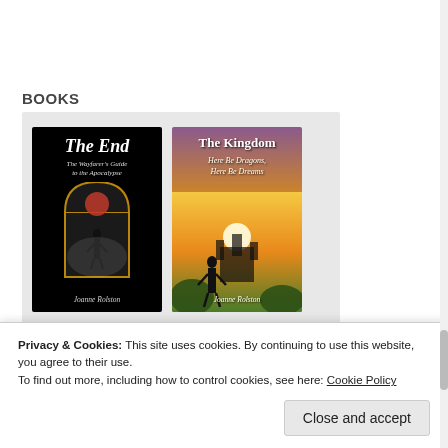BOOKS
[Figure (photo): Two book covers displayed side by side on a gray background. Left book: 'The End – The Wayfarer's Guide to the Apocalypse' by Joanne Rolston, black cover with arch/window and silhouette. Right book: 'The Kingdom – Here Be Dragons, Here Be Dreams' by Joanne Rolston, fantasy cover with sunset, castle, and silhouette figure.]
Privacy & Cookies: This site uses cookies. By continuing to use this website, you agree to their use.
To find out more, including how to control cookies, see here: Cookie Policy
Close and accept